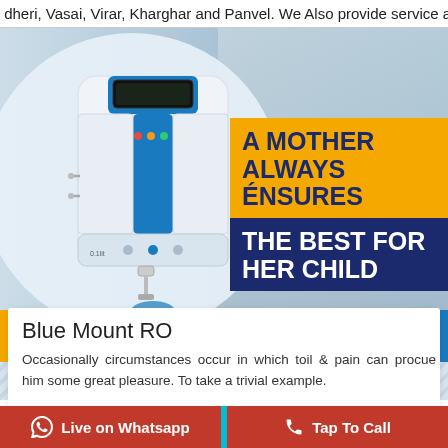dheri, Vasai, Virar, Kharghar and Panvel. We Also provide service acros
[Figure (photo): Banner image showing a Blue Mount RO water purifier on the left inside a circular frame, and a woman holding a glass of water on the right background. Bold text overlay reads: A MOTHER ALWAYS ENSURES THE BEST FOR HER CHILD on yellow and navy blue background panels.]
Blue Mount RO
Occasionally circumstances occur in which toil & pain can procue him some great pleasure. To take a trivial example.
Live on Whatsapp   Tap To Call